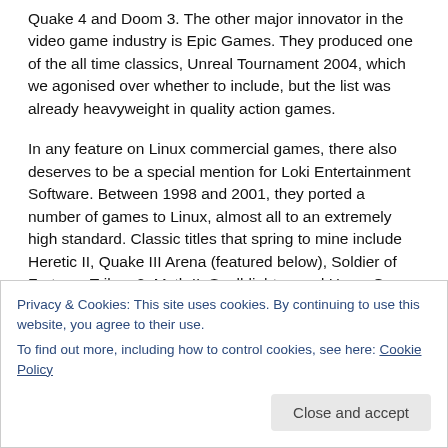Quake 4 and Doom 3. The other major innovator in the video game industry is Epic Games. They produced one of the all time classics, Unreal Tournament 2004, which we agonised over whether to include, but the list was already heavyweight in quality action games.
In any feature on Linux commercial games, there also deserves to be a special mention for Loki Entertainment Software. Between 1998 and 2001, they ported a number of games to Linux, almost all to an extremely high standard. Classic titles that spring to mine include Heretic II, Quake III Arena (featured below), Soldier of Fortune, Tribes 2, Myth II: Soulblighter, and Heavy Gear
Privacy & Cookies: This site uses cookies. By continuing to use this website, you agree to their use.
To find out more, including how to control cookies, see here: Cookie Policy